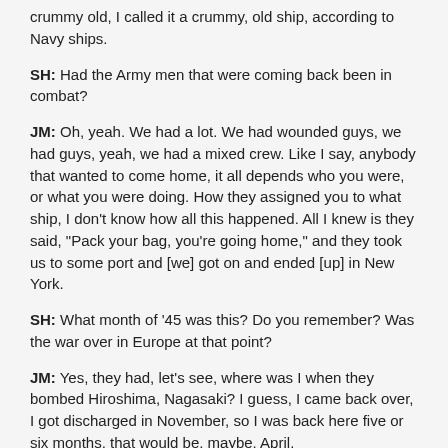crummy old, I called it a crummy, old ship, according to Navy ships.
SH:  Had the Army men that were coming back been in combat?
JM:  Oh, yeah.  We had a lot.  We had wounded guys, we had guys, yeah, we had a mixed crew.  Like I say, anybody that wanted to come home, it all depends who you were, or what you were doing.  How they assigned you to what ship, I don't know how all this happened.  All I knew is they said, "Pack your bag, you're going home," and they took us to some port and [we] got on and ended [up] in New York.
SH:  What month of '45 was this?  Do you remember?  Was the war over in Europe at that point?
JM:  Yes, they had, let's see, where was I when they bombed Hiroshima, Nagasaki?  I guess, I came back over, I got discharged in November, so I was back here five or six months, that would be, maybe, April.